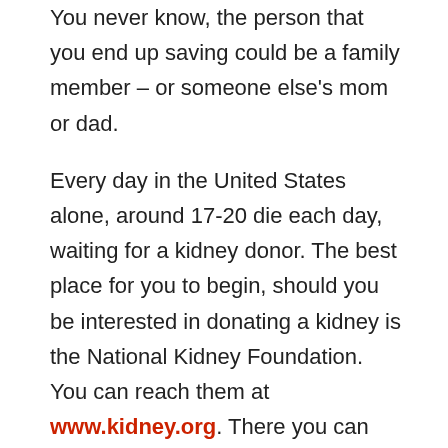You never know, the person that you end up saving could be a family member – or someone else's mom or dad.
Every day in the United States alone, around 17-20 die each day, waiting for a kidney donor. The best place for you to begin, should you be interested in donating a kidney is the National Kidney Foundation. You can reach them at www.kidney.org. There you can find out about all the events that they offer which help people get diagnosed with kidney disease and help match up donors and recipients so that patients afflicted with kidney disorders can continue to